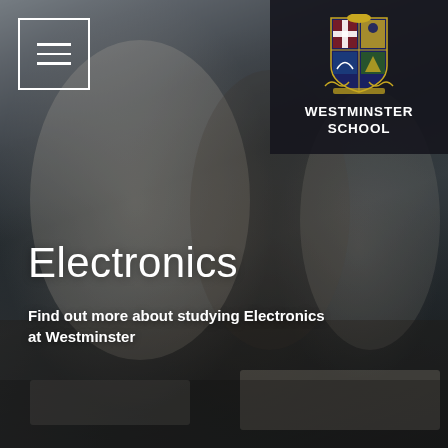[Figure (photo): Students at Westminster School working on electronics circuit boards at a desk, smiling and engaged in hands-on electronics activity in a classroom setting.]
[Figure (logo): Westminster School coat of arms crest above text reading WESTMINSTER SCHOOL on a dark background, positioned in the top-right corner.]
Electronics
Find out more about studying Electronics at Westminster